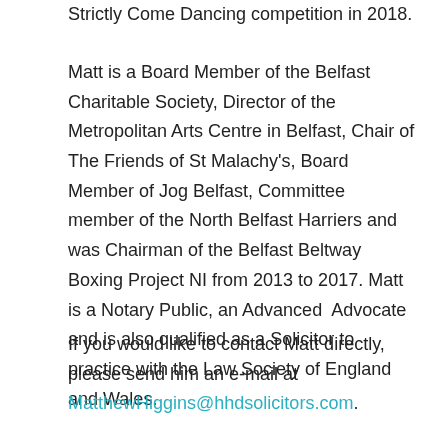Strictly Come Dancing competition in 2018.
Matt is a Board Member of the Belfast Charitable Society, Director of the Metropolitan Arts Centre in Belfast, Chair of The Friends of St Malachy's, Board Member of Jog Belfast, Committee member of the North Belfast Harriers and was Chairman of the Belfast Beltway Boxing Project NI from 2013 to 2017. Matt is a Notary Public, an Advanced Advocate and is also qualified as a Solicitor to practice with the Law Society of England and Wales.
If you would like to contact Matt directly, please send him an e-mail at MatthewHiggins@hhdsolicitors.com.